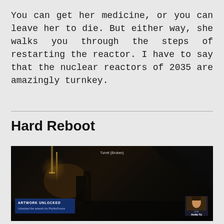You can get her medicine, or you can leave her to die. But either way, she walks you through the steps of restarting the reactor. I have to say that the nuclear reactors of 2035 are amazingly turnkey.
Hard Reboot
[Figure (screenshot): Dark video game screenshot showing a dimly lit industrial/sci-fi interior. A HUD element in the lower left shows 'ARTWORK UNLOCKED' with text 'Unlocked the artwork for Phyllis/Fnova'. In the lower right a character portrait panel shows a face labeled 'Unit' / 'Anita Yu'. The top center shows 'Turret (Broken)' text.]